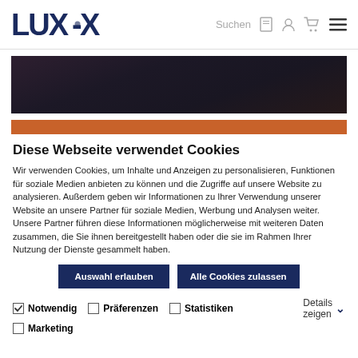[Figure (logo): LUX-X logo in dark navy blue bold font]
[Figure (photo): Dark textured banner image with deep purple-brown tones]
[Figure (illustration): Solid orange/terracotta horizontal banner strip]
Diese Webseite verwendet Cookies
Wir verwenden Cookies, um Inhalte und Anzeigen zu personalisieren, Funktionen für soziale Medien anbieten zu können und die Zugriffe auf unsere Website zu analysieren. Außerdem geben wir Informationen zu Ihrer Verwendung unserer Website an unsere Partner für soziale Medien, Werbung und Analysen weiter. Unsere Partner führen diese Informationen möglicherweise mit weiteren Daten zusammen, die Sie ihnen bereitgestellt haben oder die sie im Rahmen Ihrer Nutzung der Dienste gesammelt haben.
Auswahl erlauben
Alle Cookies zulassen
Notwendig (checked)
Präferenzen
Statistiken
Marketing
Details zeigen